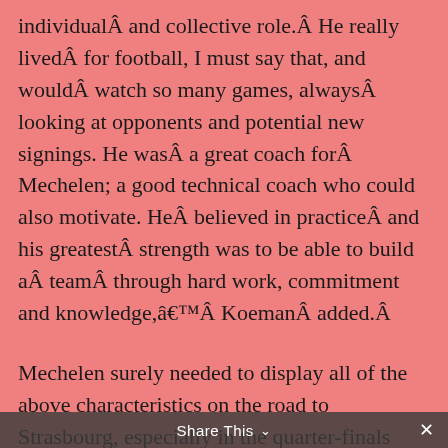individualÂ and collective role.Â He really livedÂ for football, I must say that, and wouldÂ watch so many games, alwaysÂ looking at opponents and potential new signings. He wasÂ a great coach forÂ Mechelen; a good technical coach who could also motivate. HeÂ believed in practiceÂ and his greatestÂ strength was to be able to build aÂ teamÂ through hard work, commitment and knowledge,’Â KoemanÂ added.Â
Mechelen surely needed to display all of the above characteristics on the road to Strasbourg, especially in the quarter-finals against a fine Dinamo Minsk side. The Belgian outfit had not conceded a goal in the opening two rounds, against Dinamo Bucharest (Romania) and St. Mirren (Scotland), but when Minsk got a valuable ‘away goal’ in the quarter-final first leg at Mechelen’sÂ Achter de Kazerne stadium, de Mos knew his side faced a stiff examination of their solidity in the
Share This